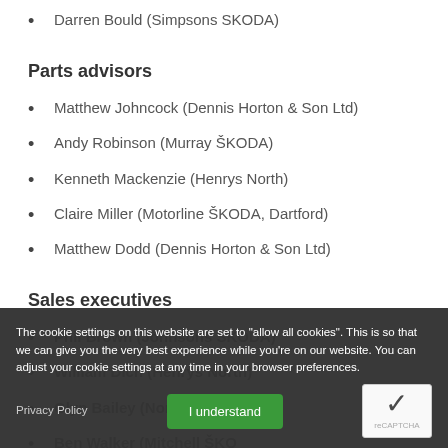Darren Bould (Simpsons SKODA)
Parts advisors
Matthew Johncock (Dennis Horton & Son Ltd)
Andy Robinson (Murray ŠKODA)
Kenneth Mackenzie (Henrys North)
Claire Miller (Motorline ŠKODA, Dartford)
Matthew Dodd (Dennis Horton & Son Ltd)
Sales executives
Phil Brown (Johnsons SKODA)
William Dich (Henrys North)
Glyn Bailey (North Wales ...)
Ben Walker (Mitchell SKODA)